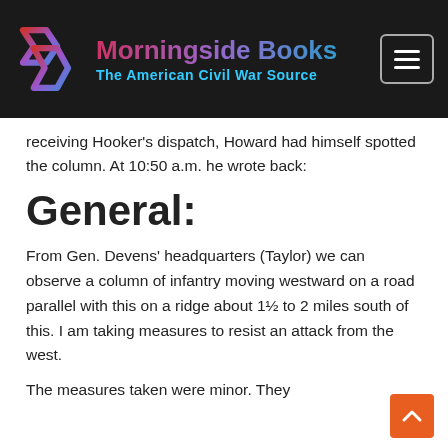Morningside Books — The American Civil War Source
receiving Hooker's dispatch, Howard had himself spotted the column. At 10:50 a.m. he wrote back:
General:
From Gen. Devens' headquarters (Taylor) we can observe a column of infantry moving westward on a road parallel with this on a ridge about 1½ to 2 miles south of this. I am taking measures to resist an attack from the west.
The measures taken were minor. They